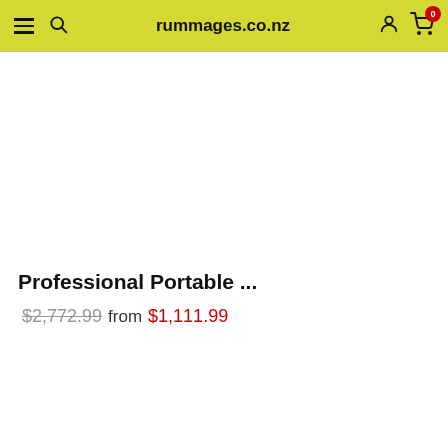rummages.co.nz
Professional Portable ...
$2,772.99 from $1,111.99
SELECT OPTIONS
Questions? We can help. Chat with us now.